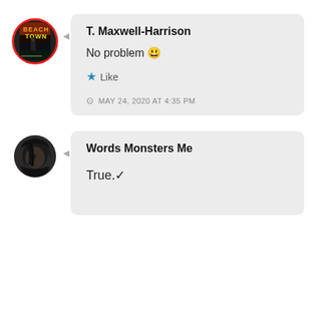[Figure (illustration): Circular avatar with red border showing a book cover titled 'Beach Town']
T. Maxwell-Harrison
No problem 😀
★ Like
MAY 24, 2020 AT 4:35 PM
[Figure (photo): Circular avatar showing a dark moody face partially obscured]
Words Monsters Me
True.✓